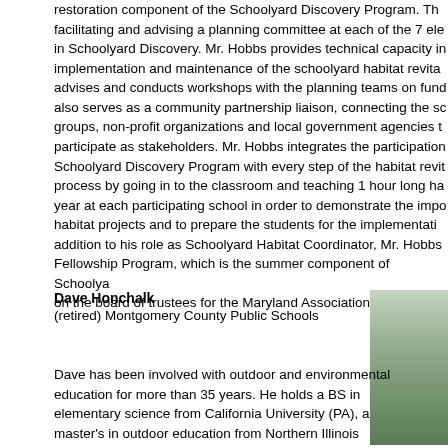restoration component of the Schoolyard Discovery Program. The facilitating and advising a planning committee at each of the 7 ele in Schoolyard Discovery. Mr. Hobbs provides technical capacity in implementation and maintenance of the schoolyard habitat revita advises and conducts workshops with the planning teams on fund also serves as a community partnership liaison, connecting the sc groups, non-profit organizations and local government agencies t participate as stakeholders. Mr. Hobbs integrates the participation Schoolyard Discovery Program with every step of the habitat revit process by going in to the classroom and teaching 1 hour long ha year at each participating school in order to demonstrate the impo habitat projects and to prepare the students for the implementati addition to his role as Schoolyard Habitat Coordinator, Mr. Hobbs Fellowship Program, which is the summer component of Schoolya on the board of trustees for the Maryland Association for Environ
Dave Honchalk
(retired) Montgomery County Public Schools
Dave has been involved with outdoor and environmental education for more than 35 years. He holds a BS in elementary science from California University (PA), a master's in outdoor education from Northern Illinois University, and certification in Administration and
[Figure (photo): Photo of Dave Honchalk outdoors, with greenery and water visible in background]